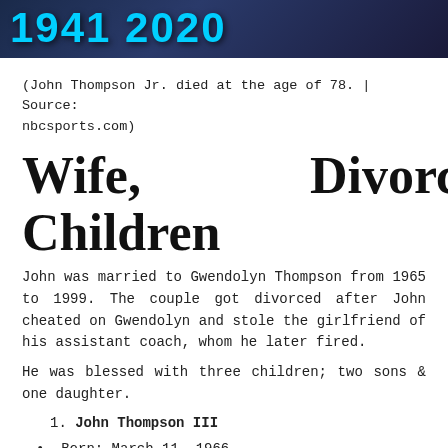[Figure (photo): Dark blue banner image with large text showing '1941 2020' in cyan/blue lettering against a dark background with a figure silhouette]
(John Thompson Jr. died at the age of 78. | Source: nbcsports.com)
Wife, Divorced, Children
John was married to Gwendolyn Thompson from 1965 to 1999. The couple got divorced after John cheated on Gwendolyn and stole the girlfriend of his assistant coach, whom he later fired.
He was blessed with three children; two sons & one daughter.
John Thompson III
Born: March 11, 1966